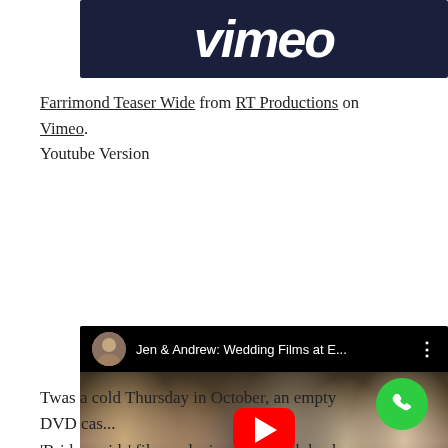[Figure (logo): Vimeo logo white on dark navy background]
Farrimond Teaser Wide from RT Productions on Vimeo. Youtube Version
[Figure (screenshot): YouTube video embed showing 'Jen & Andrew: Wedding Films at E...' with wedding party photo and red play button]
Twas a cold Thursday in October, an empty DVD cas... 'Bridesmaids' film and a jungle of high heels in the lodge